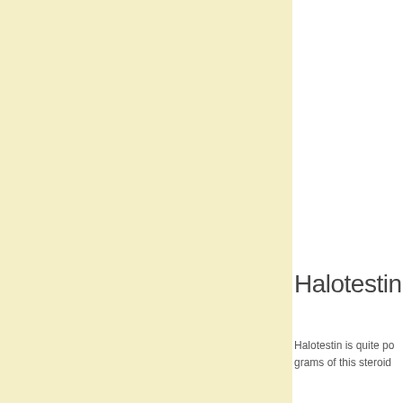[Figure (illustration): Left panel with pale yellow/cream background color fill]
Halotestin ch
Halotestin is quite po... grams of this steroid...
HGH
This is not a steroid a... the testosterone and... that are in the testos...
This steroid is recom... like a muscle builder...
It's also recommende... HGH from a reliable...